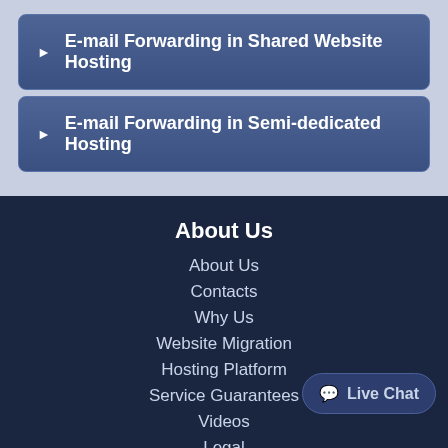E-mail Forwarding in Shared Website Hosting
E-mail Forwarding in Semi-dedicated Hosting
About Us
About Us
Contacts
Why Us
Website Migration
Hosting Platform
Service Guarantees
Videos
Legal
Live Chat
Our website uses cookies. By continuing to browse our website you are agreeing to our use of cookies. Learn more about this here.